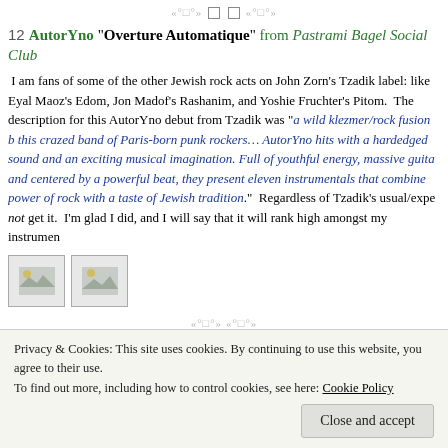«°□°» □ □ «°□°»
12 AutorYno "Overture Automatique" from Pastrami Bagel Social Club
I am fans of some of the other Jewish rock acts on John Zorn's Tzadik label: like Eyal Maoz's Edom, Jon Madof's Rashanim, and Yoshie Fruchter's Pitom. The description for this AutorYno debut from Tzadik was "a wild klezmer/rock fusion by this crazed band of Paris-born punk rockers… AutorYno hits with a hardedged sound and an exciting musical imagination. Full of youthful energy, massive guitar, and centered by a powerful beat, they present eleven instrumentals that combine the power of rock with a taste of Jewish tradition." Regardless of Tzadik's usual/expected, not get it. I'm glad I did, and I will say that it will rank high amongst my instruments
[Figure (photo): Two small image thumbnails side by side]
«°□°» □ □ «°□°»
[Figure (photo): Glen Phillips album cover thumbnail - handwritten text 'glen phillips']
13 Glen Phillips "The Innocent" from Tornillo
The voice of Toad the Wet Sprocket has been putting ou
Privacy & Cookies: This site uses cookies. By continuing to use this website, you agree to their use.
To find out more, including how to control cookies, see here: Cookie Policy
Close and accept